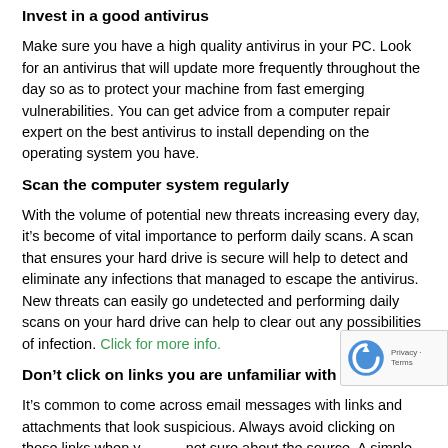Invest in a good antivirus
Make sure you have a high quality antivirus in your PC. Look for an antivirus that will update more frequently throughout the day so as to protect your machine from fast emerging vulnerabilities. You can get advice from a computer repair expert on the best antivirus to install depending on the operating system you have.
Scan the computer system regularly
With the volume of potential new threats increasing every day, it’s become of vital importance to perform daily scans. A scan that ensures your hard drive is secure will help to detect and eliminate any infections that managed to escape the antivirus. New threats can easily go undetected and performing daily scans on your hard drive can help to clear out any possibilities of infection. Click for more info.
Don’t click on links you are unfamiliar with
It’s common to come across email messages with links and attachments that look suspicious. Always avoid clicking on those links when you are not sure about the source. A simple click can infect your computer and destroy all your important data. Make sure you scan all email attachments before clicking on them. If you are not too sure about a link